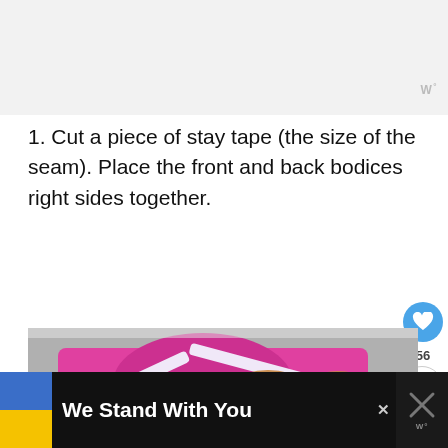[Figure (photo): Gray/white top area background, placeholder ad or header region]
W°
1. Cut a piece of stay tape (the size of the seam). Place the front and back bodices right sides together.
[Figure (photo): Hands placing stay tape on pink/magenta fabric bodice pieces on a gray mat. White stay tape visible along neckline seam.]
[Figure (infographic): WHAT'S NEXT overlay: Types of knit fabrics]
[Figure (infographic): Advertisement banner: We Stand With You, with Ukrainian flag colors and MW logo]